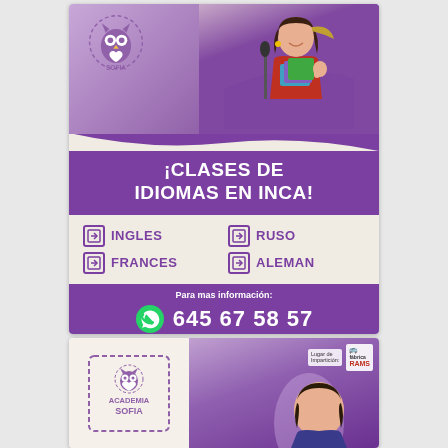[Figure (illustration): Academia Sofia language school flyer - top section showing owl logo, student photo, purple banner with ¡CLASES DE IDIOMAS EN INCA!, language options (INGLES, RUSO, FRANCES, ALEMAN), WhatsApp number 645 67 58 57, and email academia.sofia.inca@gmail.com]
¡CLASES DE IDIOMAS EN INCA!
INGLES
RUSO
FRANCES
ALEMAN
Para mas información:
645 67 58 57
academia.sofia.inca@gmail.com
[Figure (illustration): Academia Sofia business card bottom - showing stamp logo with owl on left, purple gradient with student photo on right, Lugar de Impartición: Fábrica RAMS label]